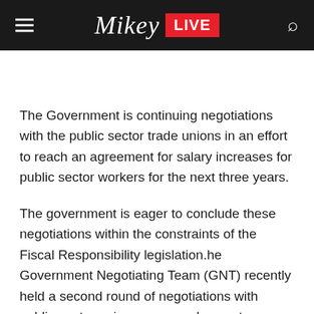Mikey LIVE
The Government is continuing negotiations with the public sector trade unions in an effort to reach an agreement for salary increases for public sector workers for the next three years.
The government is eager to conclude these negotiations within the constraints of the Fiscal Responsibility legislation.he Government Negotiating Team (GNT) recently held a second round of negotiations with public-sector unions, save and except Grenada Union of Teachers (GUT),